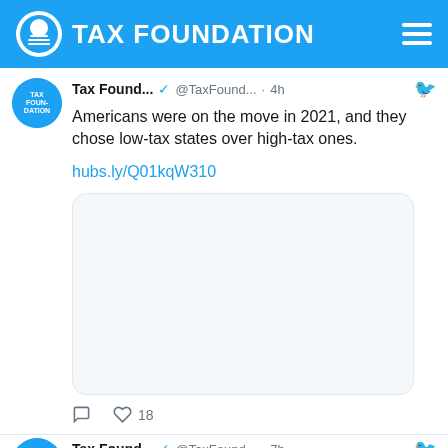TAX FOUNDATION
[Figure (screenshot): Tax Foundation Twitter/X profile avatar circle - blue circle with Tax Foundation logo]
Tax Found... @TaxFound... · 4h
Americans were on the move in 2021, and they chose low-tax states over high-tax ones.
hubs.ly/Q01kqW310
[Figure (other): Embedded tweet image preview box - empty light gray rounded rectangle]
18 likes
[Figure (screenshot): Tax Foundation Twitter/X profile avatar circle - blue circle with Tax Foundation logo]
Tax Found... @TaxFound... · 7h
Arkansans should be encouraged by